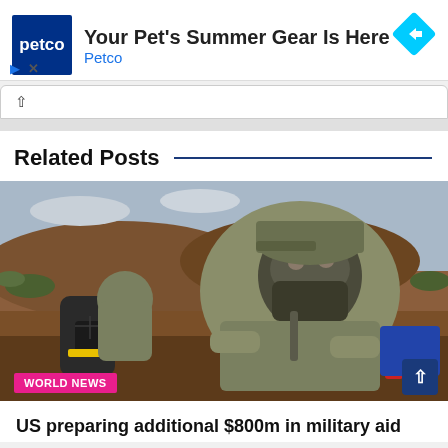[Figure (other): Petco advertisement banner with logo, text 'Your Pet's Summer Gear Is Here', brand name 'Petco', and a blue diamond navigation arrow icon]
Related Posts
[Figure (photo): Soldier in camouflage uniform and balaclava sitting in a trench with military equipment, with a 'WORLD NEWS' badge overlay]
US preparing additional $800m in military aid